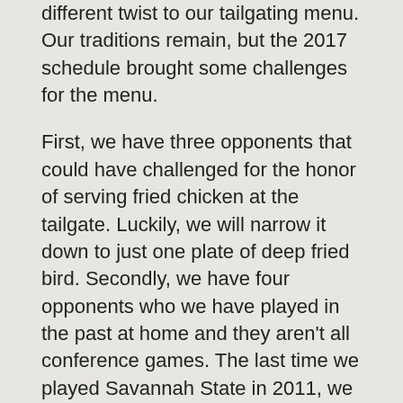different twist to our tailgating menu. Our traditions remain, but the 2017 schedule brought some challenges for the menu.
First, we have three opponents that could have challenged for the honor of serving fried chicken at the tailgate. Luckily, we will narrow it down to just one plate of deep fried bird. Secondly, we have four opponents who we have played in the past at home and they aren't all conference games. The last time we played Savannah State in 2011, we did not publish a full blown menu. We might have written it down somewhere, but there isn't any evidence besides a facebook post that should probably be deleted.
Although the post still exists, we gathered some info and discovered that baby back ribs was what we devoured the last time we annihilated Savannah State. You are all so familiar with the ribs. The